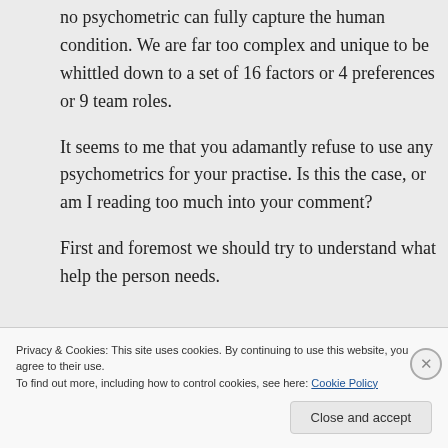no psychometric can fully capture the human condition. We are far too complex and unique to be whittled down to a set of 16 factors or 4 preferences or 9 team roles.
It seems to me that you adamantly refuse to use any psychometrics for your practise. Is this the case, or am I reading too much into your comment?
First and foremost we should try to understand what help the person needs.
Privacy & Cookies: This site uses cookies. By continuing to use this website, you agree to their use.
To find out more, including how to control cookies, see here: Cookie Policy